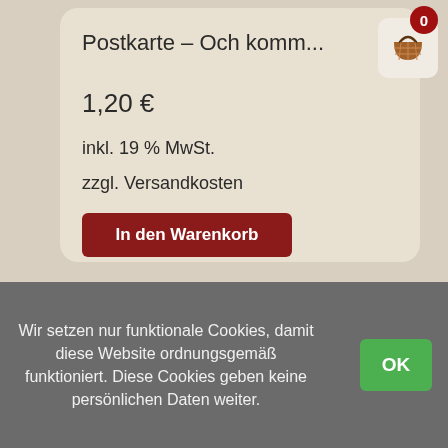Postkarte – Och komm...
1,20 €
inkl. 19 % MwSt.
zzgl. Versandkosten
In den Warenkorb
[Figure (illustration): Shopping cart icon with red badge showing '0']
Wir setzen nur funktionale Cookies, damit diese Website ordnungsgemäß funktioniert. Diese Cookies geben keine persönlichen Daten weiter.
OK